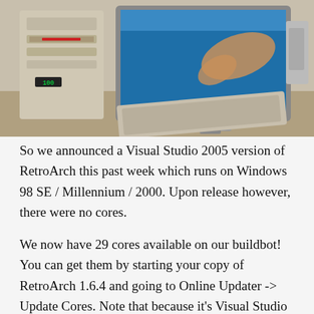[Figure (photo): A person touching or pointing at an old LG CRT monitor on a desk, with a beige tower PC case visible on the left and a keyboard in front of the monitor.]
So we announced a Visual Studio 2005 version of RetroArch this past week which runs on Windows 98 SE / Millennium / 2000. Upon release however, there were no cores.
We now have 29 cores available on our buildbot! You can get them by starting your copy of RetroArch 1.6.4 and going to Online Updater -> Update Cores. Note that because it's Visual Studio 2005/MSVC2005 we are relying on as our compiler, certain cores might never become available for this. For instance, cores that rely on C11 (like SameBoy) or C++11/C++11 (like Dolphin/Beetle/Slang) will not...